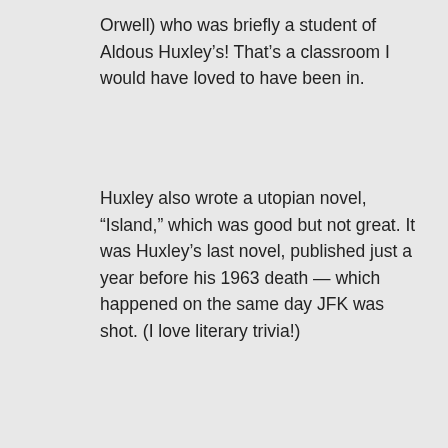Orwell) who was briefly a student of Aldous Huxley’s! That’s a classroom I would have loved to have been in.
Huxley also wrote a utopian novel, “Island,” which was good but not great. It was Huxley’s last novel, published just a year before his 1963 death — which happened on the same day JFK was shot. (I love literary trivia!)
★ Like
↳ Reply
bebe on May 19, 2015 at 5:56 pm